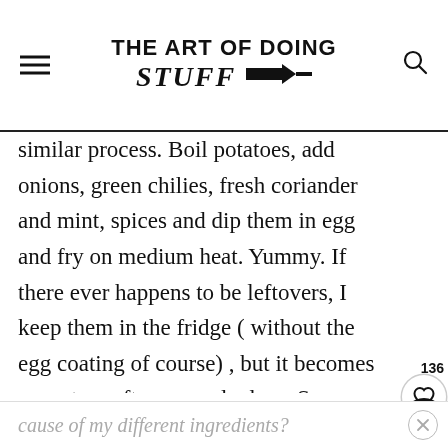THE ART OF DOING STUFF
similar process. Boil potatoes, add onions, green chilies, fresh coriander and mint, spices and dip them in egg and fry on medium heat. Yummy. If there ever happens to be leftovers, I keep them in the fridge ( without the egg coating of course) , but it becomes so watery after a couple days. Some people said it is better with few days old potatoes. Is it just
cause of my different ingredients?